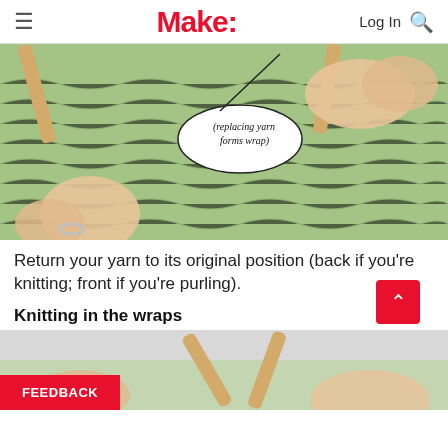Make:
[Figure (photo): Close-up photo of hands knitting with light green yarn on wooden needles. A speech bubble annotation reads '(replacing yarn forms wrap)' pointing to the yarn on the needle.]
Return your yarn to its original position (back if you're knitting; front if you're purling).
Knitting in the wraps
[Figure (photo): Partial photo of hands knitting with light green yarn and wooden needles, partially visible at the bottom of the page.]